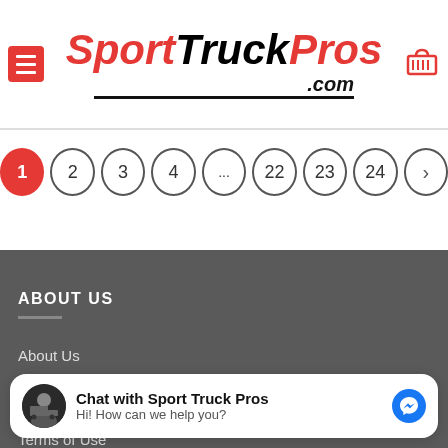SportTruckPros.com
[Figure (infographic): Pagination bar showing page circles: 1 (active/red), 2, 3, 4, ..., 22, 23, 24, > (next arrow)]
ABOUT US
About Us
Blog
Terms of Use
[Figure (other): Messenger chat bubble popup: avatar of Sport Truck Pros, title 'Chat with Sport Truck Pros', subtitle 'Hi! How can we help you?', blue Messenger icon on right]